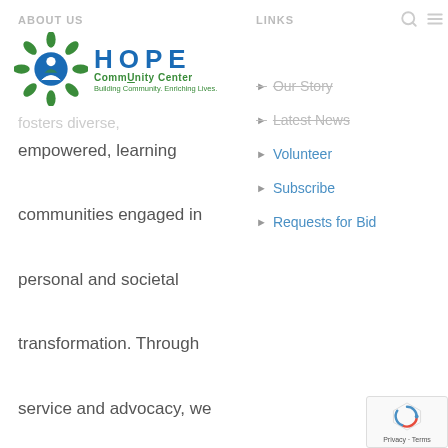ABOUT US
[Figure (logo): HOPE CommUnity Center logo with a sun/leaf motif icon in green and blue, text 'HOPE' in large blue letters, 'CommUnity Center' in green, tagline 'Building Community. Enriching Lives.']
fosters diverse,
empowered, learning communities engaged in personal and societal transformation. Through service and advocacy, we stand together with immigrants and others who are tenacious and courageous in the face of
LINKS
Our Story
Latest News
Volunteer
Subscribe
Requests for Bid